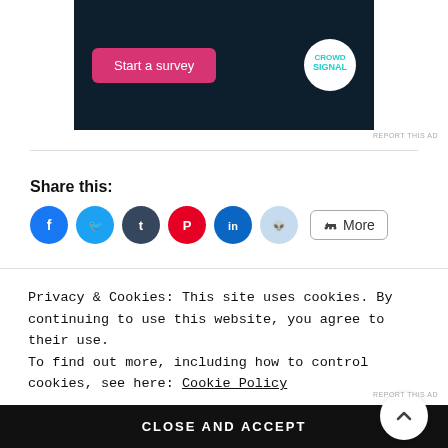[Figure (screenshot): Advertisement banner with dark navy background. Pink 'Start a survey' button on the left. Crowdsignal logo (white circle) on the right.]
REPORT THIS AD
Share this:
[Figure (infographic): Social share buttons: Facebook (blue), Twitter (light blue), Tumblr (dark gray), Pinterest (red), LinkedIn (blue), Reddit (light blue), and a More button.]
Privacy & Cookies: This site uses cookies. By continuing to use this website, you agree to their use.
To find out more, including how to control cookies, see here: Cookie Policy
CLOSE AND ACCEPT